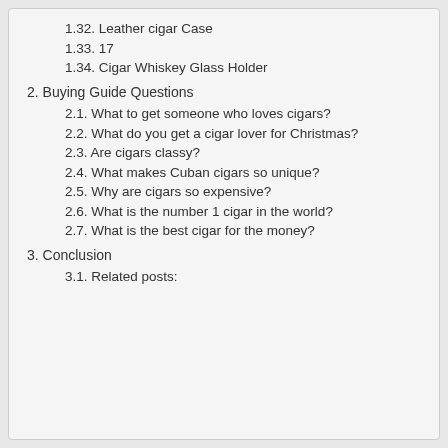1.32. Leather cigar Case
1.33. 17
1.34. Cigar Whiskey Glass Holder
2. Buying Guide Questions
2.1. What to get someone who loves cigars?
2.2. What do you get a cigar lover for Christmas?
2.3. Are cigars classy?
2.4. What makes Cuban cigars so unique?
2.5. Why are cigars so expensive?
2.6. What is the number 1 cigar in the world?
2.7. What is the best cigar for the money?
3. Conclusion
3.1. Related posts: